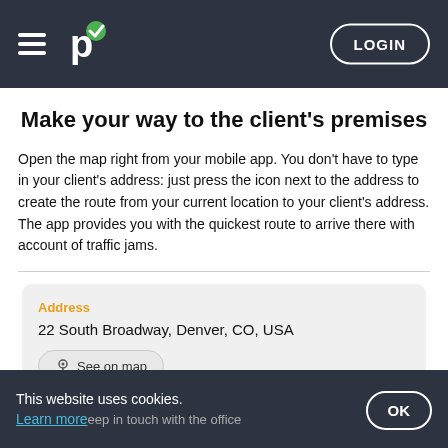LOGIN
Make your way to the client's premises
Open the map right from your mobile app. You don't have to type in your client's address: just press the icon next to the address to create the route from your current location to your client's address. The app provides you with the quickest route to arrive there with account of traffic jams.
[Figure (screenshot): Mobile app UI card showing address '22 South Broadway, Denver, CO, USA' with a 'See on map' button, a blue 'En route' button and a green 'Start' button]
This website uses cookies. Learn more ...keep in touch with the office